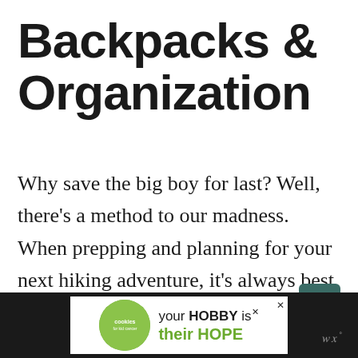Backpacks & Organization
Why save the big boy for last? Well, there's a method to our madness. When prepping and planning for your next hiking adventure, it's always best to get all your kit together before choosing the size of your hiking backpack — otherwise, there's a temptation to fill up a larger pack with more (probably unnecessary) stuff.
[Figure (other): Advertisement banner at the bottom: dark background with 'Cookies for Kids Cancer' logo on left showing hands holding a heart cookie, and text 'your HOBBY is their HOPE' in green/white. A small Wüsthof or similar brand logo appears on the right side.]